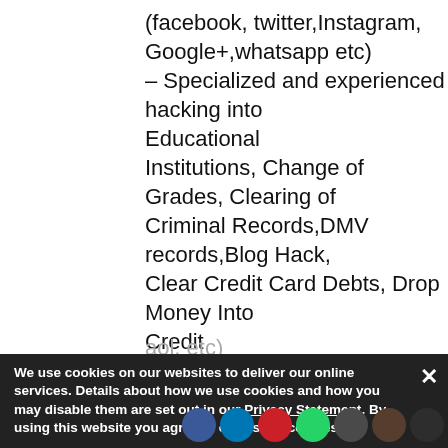(facebook, twitter,Instagram, Google+,whatsapp etc)
– Specialized and experienced hacking into Educational
Institutions, Change of Grades, Clearing of Criminal Records,DMV records,Blog Hack, Clear Credit Card Debts, Drop Money Into Credit
Cards, Smartphone Hacks, Bank Account Hacks in various parts
of the world etc,
– Hack into email accounts (gmail, yahoo, aol, etc)
Server Hack, Database Copy/Deletion, Changing Data)
(Stealing b...
We use cookies on our websites to deliver our online services. Details about how we use cookies and how you may disable them are set out in our Privacy Statement. By using this website you agree to our use of cookies.